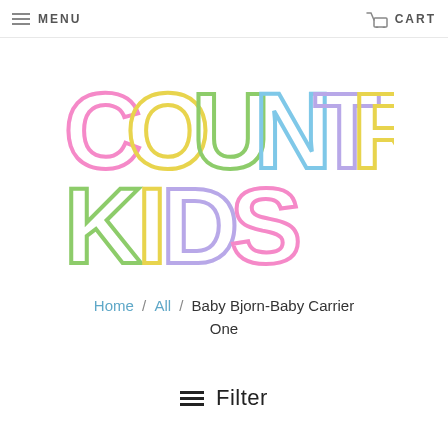MENU  CART
[Figure (logo): Country Kids colorful outlined logo text: COUNTRY KIDS in large multicolored letters (pink, yellow, green, blue, purple)]
Home / All / Baby Bjorn-Baby Carrier One
Filter